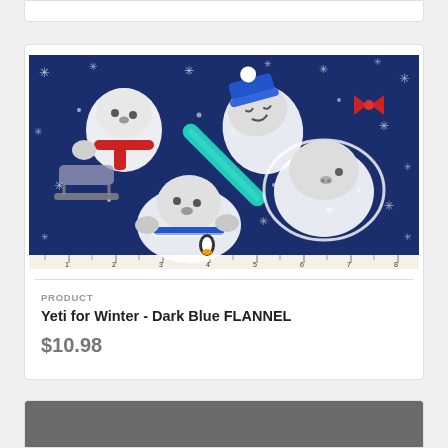[Figure (photo): Cropped top of a product card, partially visible at the top of the page]
[Figure (photo): Fabric swatch image showing 'Yeti for Winter - Dark Blue FLANNEL': white yeti characters playing in snow on a dark navy blue background with snowflakes, scarves, and a ruler along the bottom edge]
PRODUCT
Yeti for Winter - Dark Blue FLANNEL
$10.98
[Figure (photo): Partially visible fabric swatch at the bottom of the page showing a dark gray/charcoal solid flannel fabric]